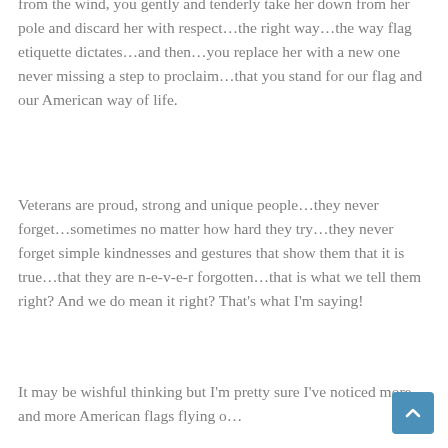from the wind, you gently and tenderly take her down from her pole and discard her with respect…the right way…the way flag etiquette dictates…and then…you replace her with a new one never missing a step to proclaim…that you stand for our flag and our American way of life.
Veterans are proud, strong and unique people…they never forget…sometimes no matter how hard they try…they never forget simple kindnesses and gestures that show them that it is true…that they are n-e-v-e-r forgotten…that is what we tell them right? And we do mean it right? That's what I'm saying!
It may be wishful thinking but I'm pretty sure I've noticed more and more American flags flying o…